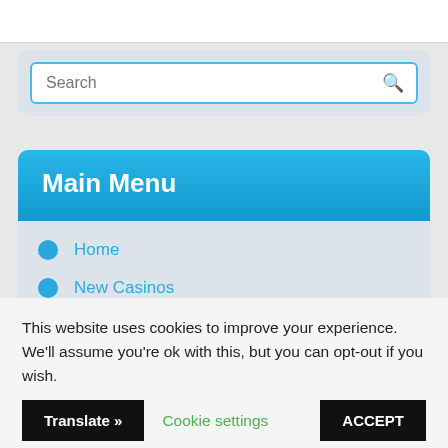[Figure (screenshot): Search bar with placeholder text 'Search' and a magnifying glass icon]
Main Menu
Home
New Casinos
Netent Casinos
Netent Free Spins
Netent No Deposit
This website uses cookies to improve your experience. We'll assume you're ok with this, but you can opt-out if you wish.
Cookie settings   ACCEPT   Translate »